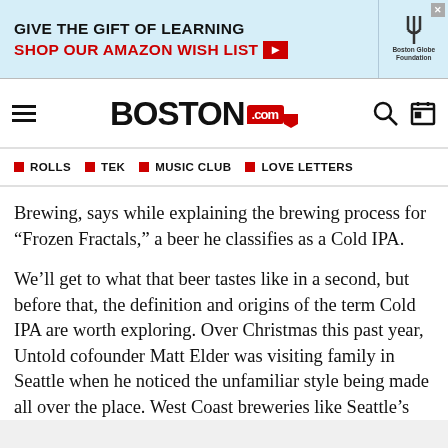[Figure (other): Advertisement banner: GIVE THE GIFT OF LEARNING / SHOP OUR AMAZON WISH LIST with arrow, Boston Globe Foundation logo with fork icon]
BOSTON.com
ROLLS
TEK
MUSIC CLUB
LOVE LETTERS
Brewing, says while explaining the brewing process for “Frozen Fractals,” a beer he classifies as a Cold IPA.
We’ll get to what that beer tastes like in a second, but before that, the definition and origins of the term Cold IPA are worth exploring. Over Christmas this past year, Untold cofounder Matt Elder was visiting family in Seattle when he noticed the unfamiliar style being made all over the place. West Coast breweries like Seattle’s